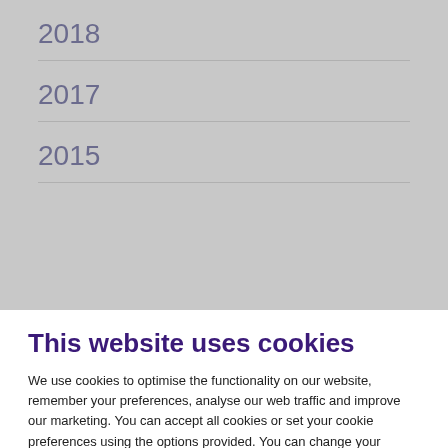2018
2017
2015
This website uses cookies
We use cookies to optimise the functionality on our website, remember your preferences, analyse our web traffic and improve our marketing. You can accept all cookies or set your cookie preferences using the options provided. You can change your cookie consent at any time and learn more about the cookies used on this site by viewing our Cookie Policy
Accept all
Cookie Preferences